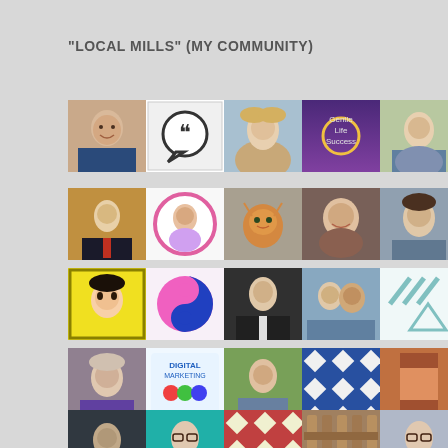"LOCAL MILLS" (MY COMMUNITY)
[Figure (photo): Grid of community member profile photos and avatars arranged in 5 rows. Row 1: man smiling, speech bubble icon, blonde woman, purple graphic, elderly woman, woman with headscarf, green pattern, man in suit. Row 2: boy in suit, woman in circle, orange cat, woman smiling, brunette woman, cannabis leaf icon, yellow pattern, blue pattern. Row 3: anime avatar yellow, yin yang pink, man in suit, couple, diagonal lines, lime green pattern, Asian woman, person outdoors. Row 4: older woman, digital marketing graphic, man outdoors, blue quilt pattern, brown quilt pattern, sunset, face with glasses, face masked, apple logo. Row 5: person dark, woman glasses teal, quilt pattern, wood fence, woman glasses, Asian person.]